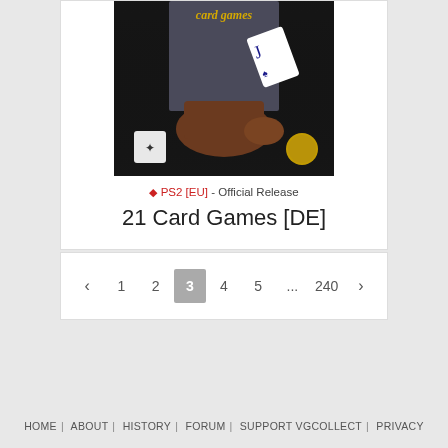[Figure (photo): Game cover art for 21 Card Games [DE] on PS2, showing a boot kicking a playing card on a dark background.]
PS2 [EU] - Official Release
21 Card Games [DE]
‹ 1 2 3 4 5 ... 240 ›
HOME | ABOUT | HISTORY | FORUM | SUPPORT VGCOLLECT | PRIVACY